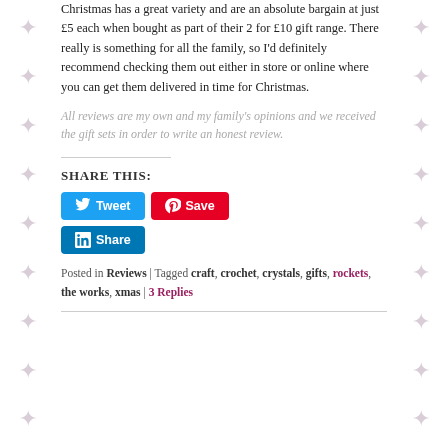Christmas has a great variety and are an absolute bargain at just £5 each when bought as part of their 2 for £10 gift range. There really is something for all the family, so I'd definitely recommend checking them out either in store or online where you can get them delivered in time for Christmas.
All reviews are my own and my family's opinions and we received the gift sets in order to write an honest review.
SHARE THIS:
[Figure (other): Social share buttons: Tweet (Twitter, blue), Save (Pinterest, red), Share (LinkedIn, blue)]
Posted in Reviews | Tagged craft, crochet, crystals, gifts, rockets, the works, xmas | 3 Replies